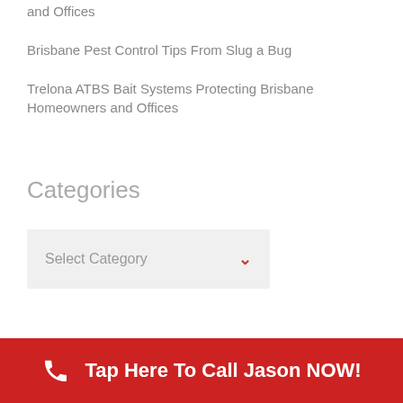and Offices
Brisbane Pest Control Tips From Slug a Bug
Trelona ATBS Bait Systems Protecting Brisbane Homeowners and Offices
Categories
Select Category
Tap Here To Call Jason NOW!